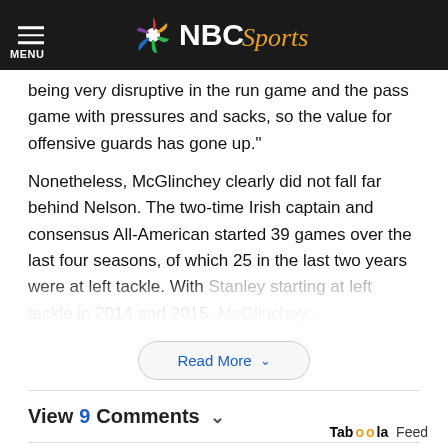[Figure (logo): NBC Sports logo with peacock icon on dark header bar with MENU icon]
being very disruptive in the run game and the pass game with pressures and sacks, so the value for offensive guards has gone up."
Nonetheless, McGlinchey clearly did not fall far behind Nelson. The two-time Irish captain and consensus All-American started 39 games over the last four seasons, of which 25 in the last two years were at left tackle. With Stanley starting at left tackle in 2014 and 2015, McGlinchey...
Read More
View 9 Comments
Taboola Feed